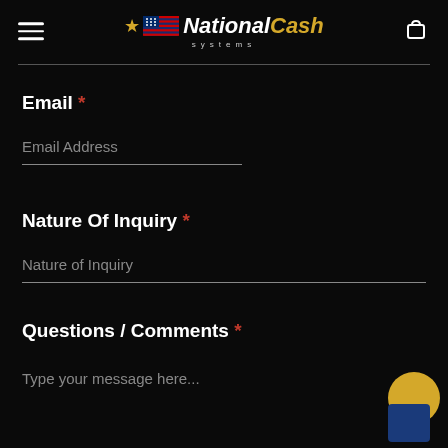[Figure (logo): National Cash Systems logo with star, American flag graphic, white 'National' italic text and gold 'Cash' italic text, with 'systems' subtitle below in small spaced letters]
Email *
Email Address
Nature Of Inquiry *
Nature of Inquiry
Questions / Comments *
Type your message here...